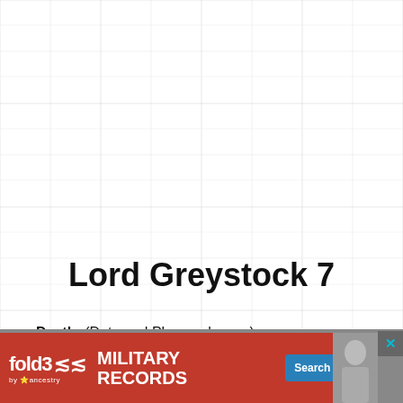[Figure (other): Light grey grid/table background pattern covering the upper and middle portion of the page]
Lord Greystock 7
Death: (Date and Place unknown)
Partnership with: (Unknown)
[Figure (other): Advertisement banner for Fold3 Military Records by Ancestry with red background, logo, tagline 'MILITARY RECORDS', and 'Search Now' button]